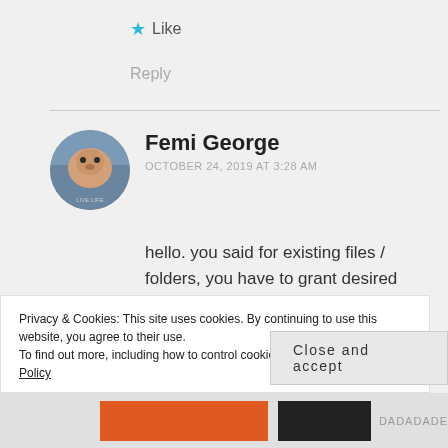★ Like
Reply
Femi George
OCTOBER 24, 2019 AT 3:28 AM
hello. you said for existing files / folders, you have to grant desired permissions explicitly. what about new files that come into the
Privacy & Cookies: This site uses cookies. By continuing to use this website, you agree to their use.
To find out more, including how to control cookies, see here: Cookie Policy
Close and accept